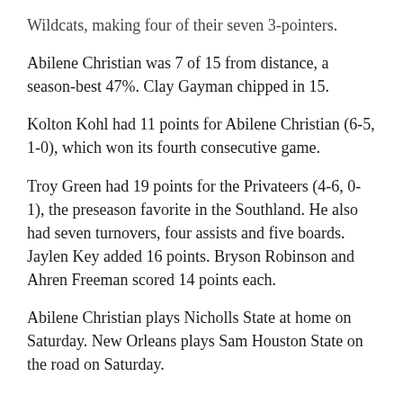Wildcats, making four of their seven 3-pointers.
Abilene Christian was 7 of 15 from distance, a season-best 47%. Clay Gayman chipped in 15.
Kolton Kohl had 11 points for Abilene Christian (6-5, 1-0), which won its fourth consecutive game.
Troy Green had 19 points for the Privateers (4-6, 0-1), the preseason favorite in the Southland. He also had seven turnovers, four assists and five boards. Jaylen Key added 16 points. Bryson Robinson and Ahren Freeman scored 14 points each.
Abilene Christian plays Nicholls State at home on Saturday. New Orleans plays Sam Houston State on the road on Saturday.